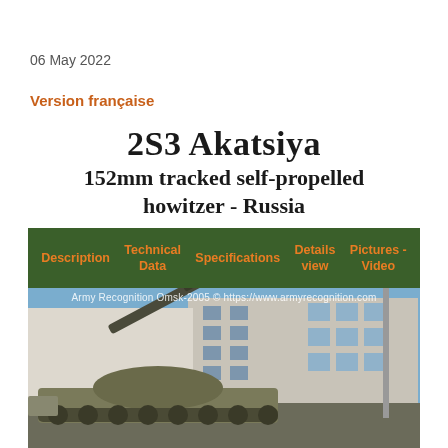06 May 2022
Version française
2S3 Akatsiya
152mm tracked self-propelled howitzer - Russia
| Description | Technical Data | Specifications | Details view | Pictures - Video |
| --- | --- | --- | --- | --- |
[Figure (photo): Photo of 2S3 Akatsiya 152mm self-propelled howitzer at Omsk 2005 exhibition, showing the vehicle with its long gun barrel elevated, parked in front of a large industrial building. Watermark: Army Recognition Omsk-2005 © https://www.armyrecognition.com]